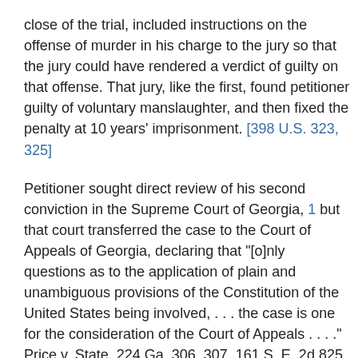close of the trial, included instructions on the offense of murder in his charge to the jury so that the jury could have rendered a verdict of guilty on that offense. That jury, like the first, found petitioner guilty of voluntary manslaughter, and then fixed the penalty at 10 years' imprisonment. [398 U.S. 323, 325]
Petitioner sought direct review of his second conviction in the Supreme Court of Georgia, 1 but that court transferred the case to the Court of Appeals of Georgia, declaring that "[o]nly questions as to the application of plain and unambiguous provisions of the Constitution of the United States being involved, . . . the case is one for the consideration of the Court of Appeals . . . ." Price v. State, 224 Ga. 306, 307, 161 S. E. 2d 825, 826 (1968).
The Georgia Court of Appeals then heard the appeal and affirmed the second conviction, rejecting petitioner's